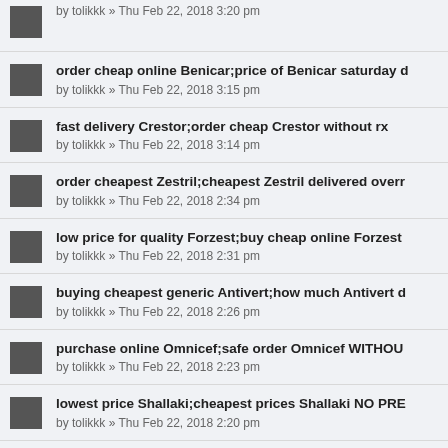by tolikkk » Thu Feb 22, 2018 3:20 pm
order cheap online Benicar;price of Benicar saturday d… by tolikkk » Thu Feb 22, 2018 3:15 pm
fast delivery Crestor;order cheap Crestor without rx by tolikkk » Thu Feb 22, 2018 3:14 pm
order cheapest Zestril;cheapest Zestril delivered overr… by tolikkk » Thu Feb 22, 2018 2:34 pm
low price for quality Forzest;buy cheap online Forzest… by tolikkk » Thu Feb 22, 2018 2:31 pm
buying cheapest generic Antivert;how much Antivert d… by tolikkk » Thu Feb 22, 2018 2:26 pm
purchase online Omnicef;safe order Omnicef WITHOUT… by tolikkk » Thu Feb 22, 2018 2:23 pm
lowest price Shallaki;cheapest prices Shallaki NO PRE… by tolikkk » Thu Feb 22, 2018 2:20 pm
ordering Paxil Cr;mail order Paxil Cr shipped overnigh… by tolikkk » Thu Feb 22, 2018 2:18 pm